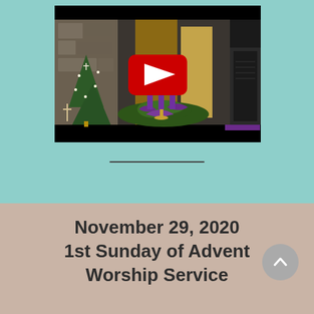[Figure (screenshot): YouTube video thumbnail showing a church altar decorated with purple Advent candles, greenery, purple ribbons, a Christmas tree with white cross ornaments, and a large YouTube play button overlay in the center. The setting appears to be a church worship service recording.]
November 29, 2020 1st Sunday of Advent Worship Service